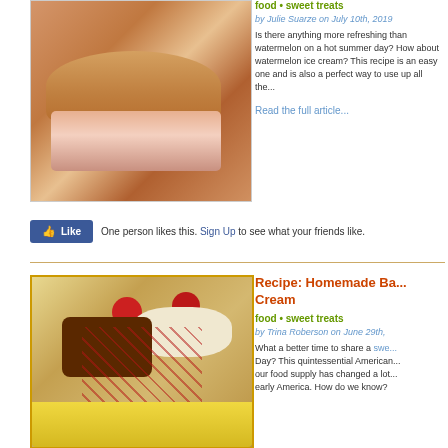[Figure (photo): Close-up photo of ice cream sandwich cookies with pink/red filling on a plate]
food • sweet treats
by Julie Suarze on July 10th, 2019
Is there anything more refreshing than watermelon on a hot summer day? How about watermelon ice cream? This recipe is an easy one and is also a perfect way to use up all the...
Read the full article...
One person likes this. Sign Up to see what your friends like.
[Figure (photo): Photo of banana split ice cream sundae with cherries, chocolate, whipped cream and chocolate sauce]
Recipe: Homemade Banana Split Ice Cream
food • sweet treats
by Trina Roberson on June 29th,
What a better time to share a sweet treat for Day? This quintessential American dessert... our food supply has changed a lot since early America. How do we know?